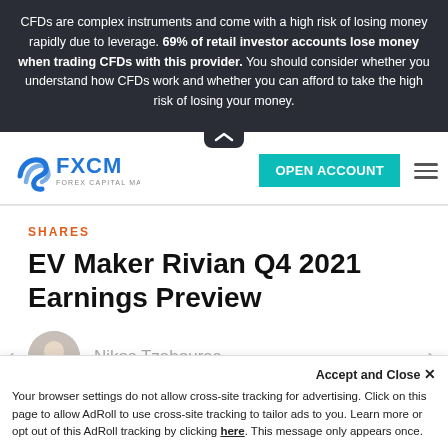CFDs are complex instruments and come with a high risk of losing money rapidly due to leverage. 69% of retail investor accounts lose money when trading CFDs with this provider. You should consider whether you understand how CFDs work and whether you can afford to take the high risk of losing your money.
[Figure (logo): FXCM Forex Capital Markets logo with blue swoosh icon and FXCM text]
[Figure (other): OPEN ACCOUNT teal button and hamburger menu icon in navigation bar]
SHARES
EV Maker Rivian Q4 2021 Earnings Preview
[Figure (photo): Portrait photo of author Nikos Tzabouras, circular avatar]
Nikos Tzabouras
Accept and Close ✕
Your browser settings do not allow cross-site tracking for advertising. Click on this page to allow AdRoll to use cross-site tracking to tailor ads to you. Learn more or opt out of this AdRoll tracking by clicking here. This message only appears once.